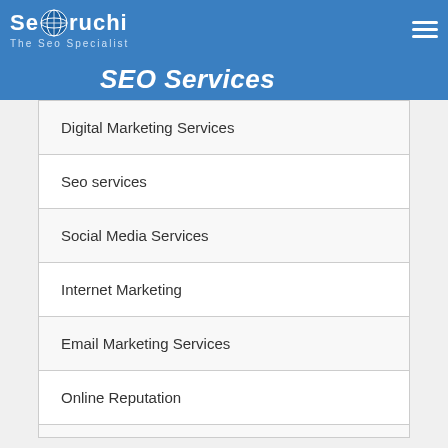Seoruchi - The Seo Specialist
SEO Services
Digital Marketing Services
Seo services
Social Media Services
Internet Marketing
Email Marketing Services
Online Reputation
Web Design/Development Services
Training